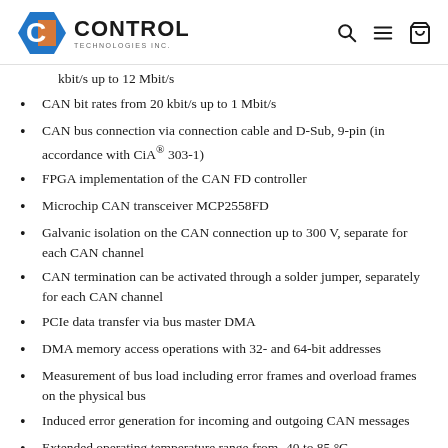CONTROL TECHNOLOGIES
kbit/s up to 12 Mbit/s
CAN bit rates from 20 kbit/s up to 1 Mbit/s
CAN bus connection via connection cable and D-Sub, 9-pin (in accordance with CiA® 303-1)
FPGA implementation of the CAN FD controller
Microchip CAN transceiver MCP2558FD
Galvanic isolation on the CAN connection up to 300 V, separate for each CAN channel
CAN termination can be activated through a solder jumper, separately for each CAN channel
PCIe data transfer via bus master DMA
DMA memory access operations with 32- and 64-bit addresses
Measurement of bus load including error frames and overload frames on the physical bus
Induced error generation for incoming and outgoing CAN messages
Extended operating temperature range from -40 to 85 °C